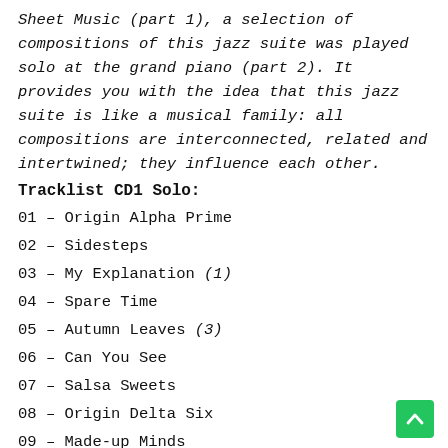Sheet Music (part 1), a selection of compositions of this jazz suite was played solo at the grand piano (part 2). It provides you with the idea that this jazz suite is like a musical family: all compositions are interconnected, related and intertwined; they influence each other.
Tracklist CD1 Solo:
01 – Origin Alpha Prime
02 – Sidesteps
03 – My Explanation (1)
04 – Spare Time
05 – Autumn Leaves (3)
06 – Can You See
07 – Salsa Sweets
08 – Origin Delta Six
09 – Made-up Minds